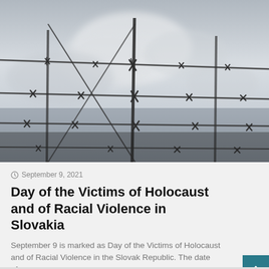[Figure (photo): Black and white photograph of barbed wire fence against a cloudy sky]
September 9, 2021
Day of the Victims of Holocaust and of Racial Violence in Slovakia
September 9 is marked as Day of the Victims of Holocaust and of Racial Violence in the Slovak Republic. The date of…